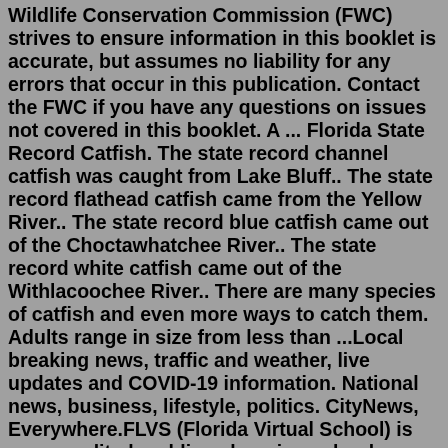Wildlife Conservation Commission (FWC) strives to ensure information in this booklet is accurate, but assumes no liability for any errors that occur in this publication. Contact the FWC if you have any questions on issues not covered in this booklet. A ... Florida State Record Catfish. The state record channel catfish was caught from Lake Bluff.. The state record flathead catfish came from the Yellow River.. The state record blue catfish came out of the Choctawhatchee River.. The state record white catfish came out of the Withlacoochee River.. There are many species of catfish and even more ways to catch them. Adults range in size from less than ...Local breaking news, traffic and weather, live updates and COVID-19 information. National news, business, lifestyle, politics. CityNews, Everywhere.FLVS (Florida Virtual School) is an accredited, public, e-learning school serving students in grades K-12 online - in Florida and all over the world. Florida Virtual School is honored to be home to amazing athletes throughout Florida, including 6th-grade FLVS Flex student